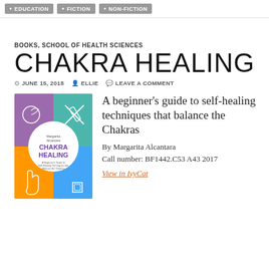EDUCATION   FICTION   NON-FICTION
BOOKS, SCHOOL OF HEALTH SCIENCES
CHAKRA HEALING
JUNE 15, 2018   ELLIE   LEAVE A COMMENT
[Figure (photo): Book cover of Chakra Healing by Margarita Alcantara. Colorful quadrant design with icons. Title in large text on white circle.]
A beginner's guide to self-healing techniques that balance the Chakras
By Margarita Alcantara
Call number: BF1442.C53 A43 2017
View in IvyCat